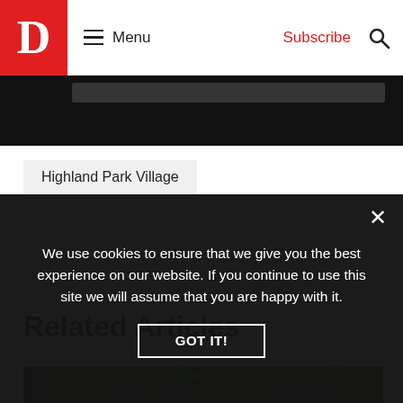D | Menu | Subscribe
[Figure (photo): Dark/black image strip, partial article image at top of page content area]
Highland Park Village
Related Articles
[Figure (photo): Green leafy trees photograph, article thumbnail image]
We use cookies to ensure that we give you the best experience on our website. If you continue to use this site we will assume that you are happy with it.
GOT IT!